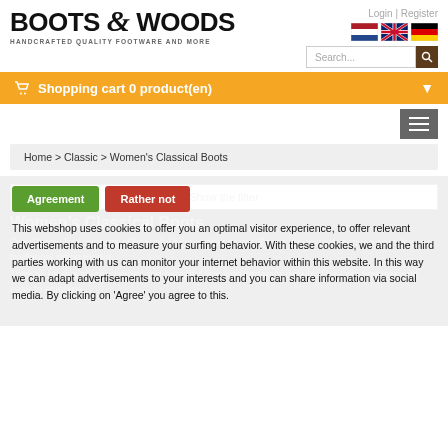[Figure (logo): Boots & Woods logo with tagline HANDCRAFTED QUALITY FOOTWARE AND MORE]
Login | Register
[Figure (illustration): Three country flags: Netherlands, UK, Germany]
[Figure (illustration): Search box with magnifier button]
Shopping cart 0 product(en)
Home > Classic > Women's Classical Boots
Show the filter
Women's Classical Boots
Our Classic line consists of beautiful high leather boots. These models are derived from the traditional riding model.
They all have a sleek, slender and beautiful line with separate details. They are timeless and easy to combine...
Agreement | Rather not — This webshop uses cookies to offer you an optimal visitor experience, to offer relevant advertisements and to measure your surfing behavior. With these cookies, we and the third parties working with us can monitor your internet behavior within this website. In this way we can adapt advertisements to your interests and you can share information via social media. By clicking on 'Agree' you agree to this.